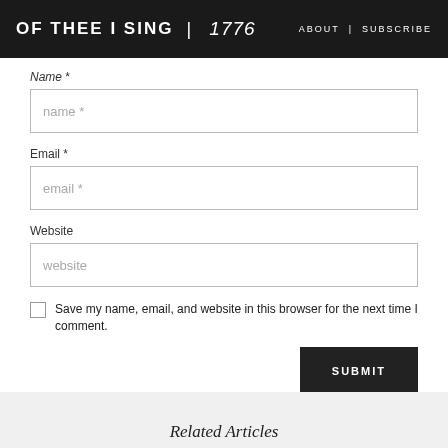OF THEE I SING | 1776   ABOUT | SUBSCRIBE
Name *
name *
Email *
email *
Website
website
Save my name, email, and website in this browser for the next time I comment.
SUBMIT
Related Articles